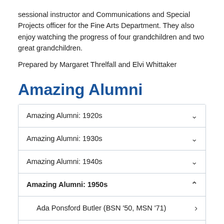sessional instructor and Communications and Special Projects officer for the Fine Arts Department. They also enjoy watching the progress of four grandchildren and two great grandchildren.
Prepared by Margaret Threlfall and Elvi Whittaker
Amazing Alumni
| Section | Toggle |
| --- | --- |
| Amazing Alumni: 1920s | ▾ |
| Amazing Alumni: 1930s | ▾ |
| Amazing Alumni: 1940s | ▾ |
| Amazing Alumni: 1950s | ▴ |
| Ada Ponsford Butler (BSN '50, MSN '71) | › |
| Alice Baumgart (BSN '58) | › |